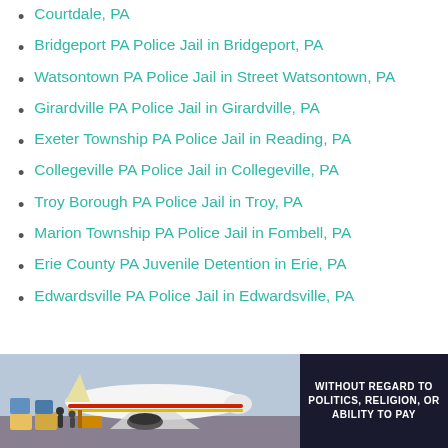Courtdale, PA
Bridgeport PA Police Jail in Bridgeport, PA
Watsontown PA Police Jail in Street Watsontown, PA
Girardville PA Police Jail in Girardville, PA
Exeter Township PA Police Jail in Reading, PA
Collegeville PA Police Jail in Collegeville, PA
Troy Borough PA Police Jail in Troy, PA
Marion Township PA Police Jail in Fombell, PA
Erie County PA Juvenile Detention in Erie, PA
Edwardsville PA Police Jail in Edwardsville, PA
[Figure (photo): Advertisement banner showing an airplane being loaded with cargo, with text overlay reading 'WITHOUT REGARD TO POLITICS, RELIGION, OR ABILITY TO PAY']